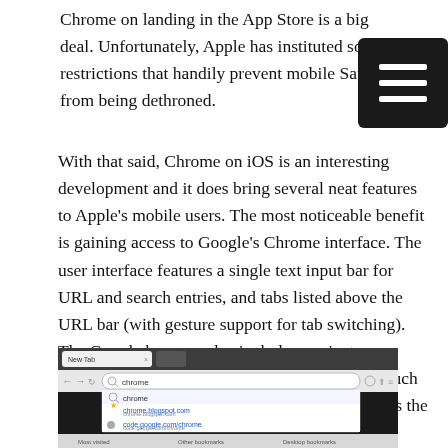Chrome on landing in the App Store is a big deal. Unfortunately, Apple has instituted some restrictions that handily prevent mobile Safari from being dethroned.
With that said, Chrome on iOS is an interesting development and it does bring several neat features to Apple's mobile users. The most noticeable benefit is gaining access to Google's Chrome interface. The user interface features a single text input bar for URL and search entries, and tabs listed above the URL bar (with gesture support for tab switching). The Google browser also includes a private browsing mode — called Incognito — that is much easier to find (and use) versus Safari which hides the feature in the Settings application.
[Figure (screenshot): Screenshot of Google Chrome browser showing a new tab with search bar and autocomplete suggestions including 'chrome', 'chrome.blogspot.com', and 'code.google.com/chrome'. Bottom bar shows Most visited, Other bookmarks, Desktop bookmarks.]